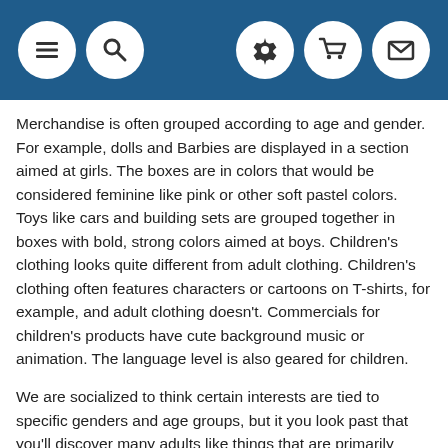[Navigation header with menu, search, settings, cart, and mail icons]
Merchandise is often grouped according to age and gender. For example, dolls and Barbies are displayed in a section aimed at girls. The boxes are in colors that would be considered feminine like pink or other soft pastel colors. Toys like cars and building sets are grouped together in boxes with bold, strong colors aimed at boys. Children’s clothing looks quite different from adult clothing. Children’s clothing often features characters or cartoons on T-shirts, for example, and adult clothing doesn’t. Commercials for children’s products have cute background music or animation. The language level is also geared for children.
We are socialized to think certain interests are tied to specific genders and age groups, but it you look past that you’ll discover many adults like things that are primarily geared for children. When we were in Disneyland in June, there were lots of grown-up adults with…